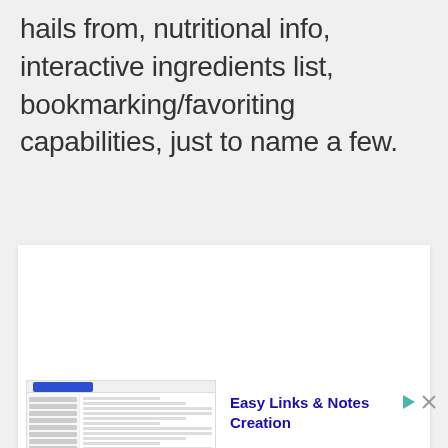hails from, nutritional info, interactive ingredients list, bookmarking/favoriting capabilities, just to name a few.
[Figure (screenshot): Screenshot of a web application interface showing a sidebar navigation and content area with text lines]
Easy Links & Notes Creation
Ad